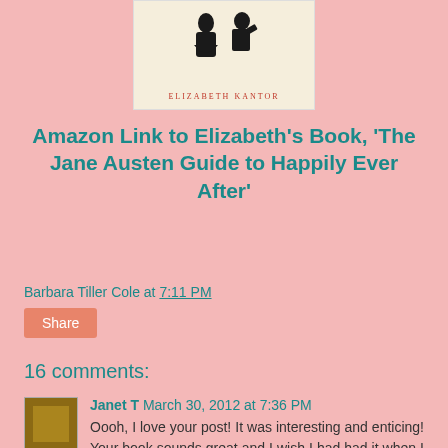[Figure (photo): Book cover for 'The Jane Austen Guide to Happily Ever After' by Elizabeth Kantor, showing a silhouette illustration on a cream background with the author's name in red lettering]
Amazon Link to Elizabeth's Book, 'The Jane Austen Guide to Happily Ever After'
Barbara Tiller Cole at 7:11 PM
Share
16 comments:
Janet T March 30, 2012 at 7:36 PM
Oooh, I love your post! It was interesting and enticing! Your book sounds great and I wish I had had it when I was younger too, although I might not have appreciated it like I would now!